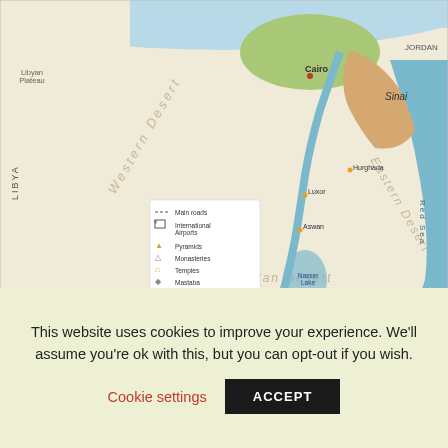[Figure (map): Map of Egypt showing Western Desert, Eastern Desert, Sinai Peninsula, Nile River, major cities including Cairo, Luxor, Aswan, neighboring countries Libya, Jordan, Sudan, Red Sea, Mediterranean Sea. Legend includes Main roads, International Airports, Pyramids, Monasteries, Temples, Mastaba, Beaches, Oases. Nubian Desert visible in south.]
With the exception of the Western Desert, most of which was considered a wasteland and not really
This website uses cookies to improve your experience. We'll assume you're ok with this, but you can opt-out if you wish.
Cookie settings   ACCEPT